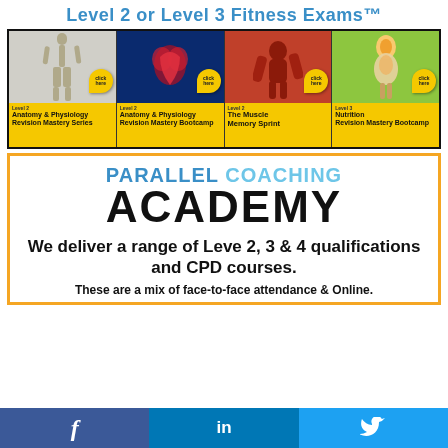Level 2 or Level 3 Fitness Exams™
[Figure (illustration): Four fitness course cards in a black banner: (1) Level 2 Anatomy & Physiology Revision Mastery Series - skeleton background; (2) Level 2 Anatomy & Physiology Revision Mastery Bootcamp - heart/circulatory system background; (3) Level 2 The Muscle Memory Sprint - muscular back background; (4) Level 3 Nutrition Revision Mastery Bootcamp - digestive system illustration background. Each card has a yellow 'click here' badge and yellow bottom panel with course title.]
[Figure (logo): Parallel Coaching Academy logo - PARALLEL in blue bold, COACHING in light blue, ACADEMY in large black bold text]
We deliver a range of Leve 2, 3 & 4 qualifications and CPD courses.
These are a mix of face-to-face attendance & Online.
[Figure (infographic): Social media bar with Facebook (dark blue), LinkedIn (medium blue), and Twitter (light blue) icons]